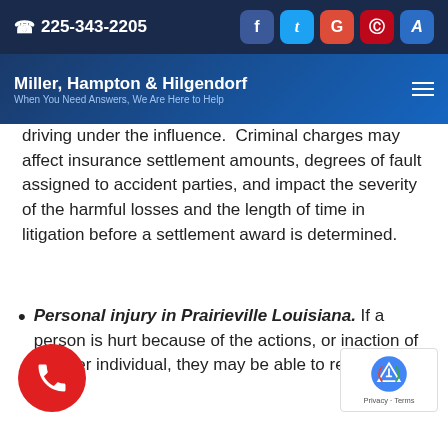225-343-2205 | Miller, Hampton & Hilgendorf – When You Need Answers, We Are Here to Help
driving under the influence.  Criminal charges may affect insurance settlement amounts, degrees of fault assigned to accident parties, and impact the severity of the harmful losses and the length of time in litigation before a settlement award is determined.
Personal injury in Prairieville Louisiana. If a person is hurt because of the actions, or inaction of another individual, they may be able to recove...